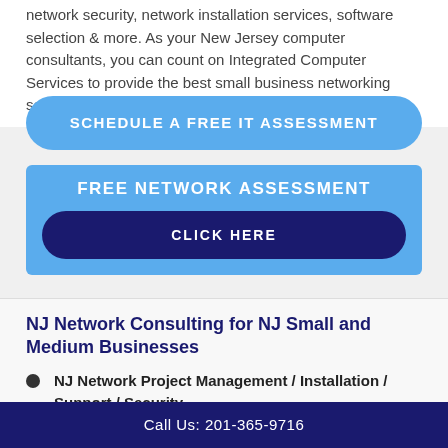network security, network installation services, software selection & more. As your New Jersey computer consultants, you can count on Integrated Computer Services to provide the best small business networking services.
SCHEDULE A FREE IT ASSESSMENT
[Figure (infographic): Blue box with text FREE NETWORK ASSESSMENT and a dark navy button labeled CLICK HERE]
NJ Network Consulting for NJ Small and Medium Businesses
NJ Network Project Management / Installation / Support / Security
Call Us: 201-365-9716